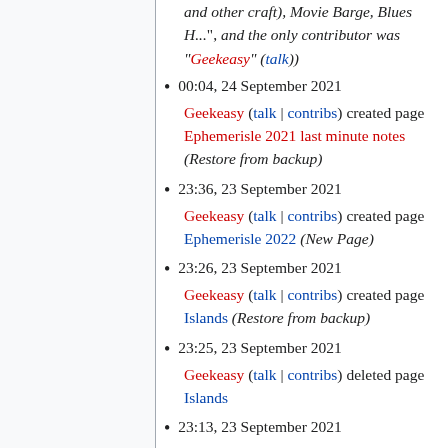and other craft), Movie Barge, Blues H...", and the only contributor was "Geekeasy" (talk))
00:04, 24 September 2021 Geekeasy (talk | contribs) created page Ephemerisle 2021 last minute notes (Restore from backup)
23:36, 23 September 2021 Geekeasy (talk | contribs) created page Ephemerisle 2022 (New Page)
23:26, 23 September 2021 Geekeasy (talk | contribs) created page Islands (Restore from backup)
23:25, 23 September 2021 Geekeasy (talk | contribs) deleted page Islands
23:13, 23 September 2021 Geekeasy (talk | contribs) created page What To Bring (Redirected page to Packing list) (Tag: New